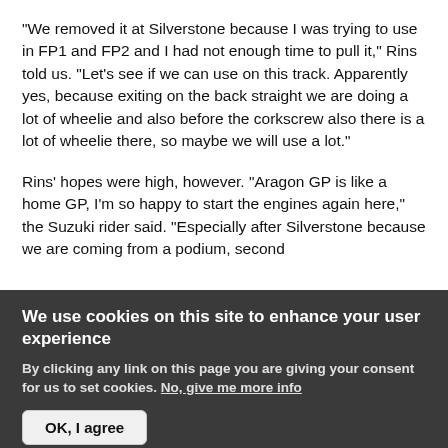"We removed it at Silverstone because I was trying to use in FP1 and FP2 and I had not enough time to pull it," Rins told us. "Let's see if we can use on this track. Apparently yes, because exiting on the back straight we are doing a lot of wheelie and also before the corkscrew also there is a lot of wheelie there, so maybe we will use a lot."
Rins' hopes were high, however. "Aragon GP is like a home GP, I'm so happy to start the engines again here," the Suzuki rider said. "Especially after Silverstone because we are coming from a podium, second
We use cookies on this site to enhance your user experience
By clicking any link on this page you are giving your consent for us to set cookies. No, give me more info
OK, I agree